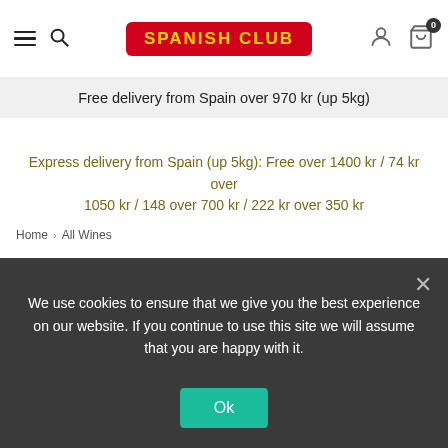SPANISH CLUB
Free delivery from Spain over 970 kr (up 5kg)
Express delivery from Spain (up 5kg): Free over 1400 kr / 74 kr over 1050 kr / 148 over 700 kr / 222 kr over 350 kr
Home > All Wines
All Wines
1 result. Prices inclusive of VAT.
Enjoy the best Spanish wines available for online shopping in our gourmet shop for Sweden.
+ Read More
We use cookies to ensure that we give you the best experience on our website. If you continue to use this site we will assume that you are happy with it.